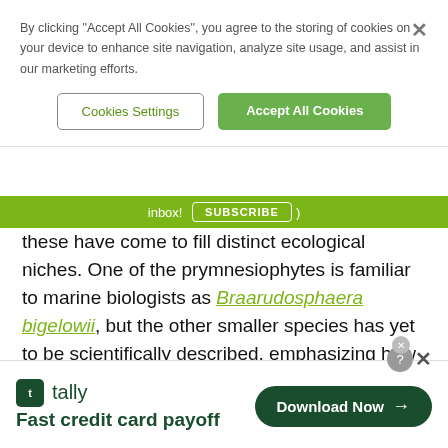By clicking “Accept All Cookies”, you agree to the storing of cookies on your device to enhance site navigation, analyze site usage, and assist in our marketing efforts.
Cookies Settings
Accept All Cookies
inbox! SUBSCRIBE
these have come to fill distinct ecological niches. One of the prymnesiophytes is familiar to marine biologists as Braarudosphaera bigelowii, but the other smaller species has yet to be scientifically described, emphasizing how little we know about the species that help give life to the oceans.
[Figure (screenshot): Advertisement banner for Tally app with text 'Fast credit card payoff' and a 'Download Now' button]